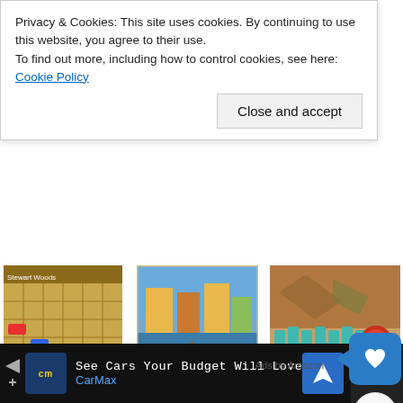Privacy & Cookies: This site uses cookies. By continuing to use this website, you agree to their use.
To find out more, including how to control cookies, see here: Cookie Policy
Close and accept
[Figure (photo): Eurogames board game box cover with grid pattern]
Eurogames: The Design, Culture and ...
$13.49
★★★★☆ (30)
[Figure (photo): Murano board game box with Venice canal scene]
Murano Board Game | Classic European ...
$48.95 ✓prime
★★★★★ (14)
[Figure (photo): Hnefatafl Viking Chess Set with teal pieces]
Hnefatafl Viking Chess Set - Authentic, Trad...
$39.99 ✓prime
★★★★★ (2...
Ads by Amazon
SUPPORT US ON PATREON
See Cars Your Budget Will Love
CarMax